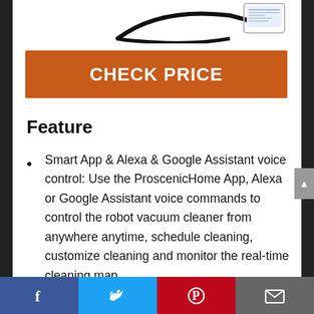[Figure (photo): Product image of a robot vacuum cleaner with a mobile phone app shown at the top of the page]
CHECK PRICE
Feature
Smart App & Alexa & Google Assistant voice control: Use the ProscenicHome App, Alexa or Google Assistant voice commands to control the robot vacuum cleaner from anywhere anytime, schedule cleaning, customize cleaning and monitor the real-time cleaning map,
Facebook | Twitter | Pinterest | Email